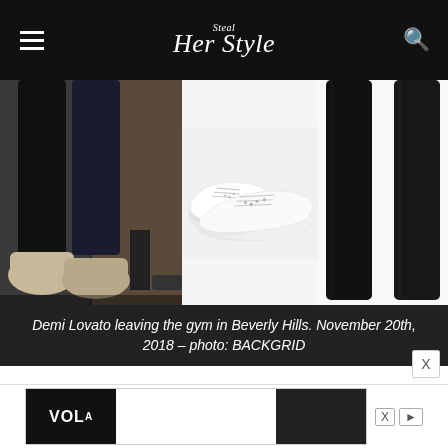Steal Her Style
[Figure (photo): Three-panel photo strip: left panel shows Demi Lovato's legs and feet in cream/beige sneakers with black pants, paparazzi photo; center panel shows white Valentino Rockstud leather sneakers on white background; right panel shows black skinny jeans/leggings on white background.]
Demi Lovato leaving the gym in Beverly Hills. November 20th, 2018 – photo: BACKGRID
Demi Lovato was spotted leaving the gym in Beverly Hills wearing the R13 Distressed Detail Denim Jacket ($625.00), J Brand 485 Super Skinny Luxe Sateen Jeans ($188.00) and Valentino Garavani Soul Rockstud Leather Sneakers ($409.00)
[Figure (other): Advertisement banner with VOL brand logo and advertising controls (X button, play button).]